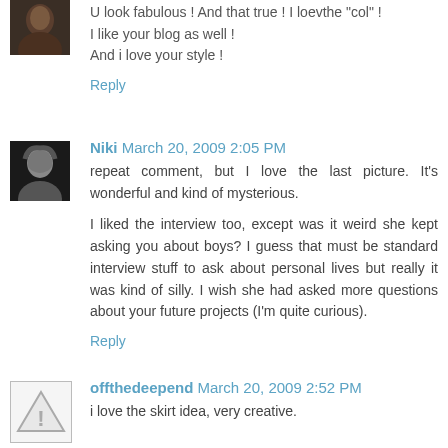[Figure (photo): Small avatar photo of a person, dark/brown tones, top left of first comment]
U look fabulous ! And that true ! I loevthe "col" !
I like your blog as well !
And i love your style !
Reply
[Figure (photo): Small black and white avatar photo of a person (Niki)]
Niki March 20, 2009 2:05 PM
repeat comment, but I love the last picture. It's wonderful and kind of mysterious.

I liked the interview too, except was it weird she kept asking you about boys? I guess that must be standard interview stuff to ask about personal lives but really it was kind of silly. I wish she had asked more questions about your future projects (I'm quite curious).
Reply
[Figure (illustration): Warning/alert icon triangle with exclamation mark, gray border]
offthedeepend March 20, 2009 2:52 PM
i love the skirt idea, very creative.